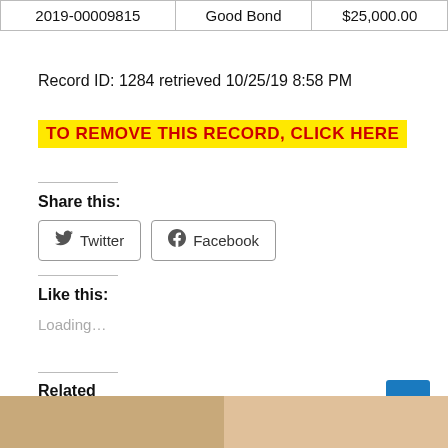|  |  |  |
| --- | --- | --- |
| 2019-00009815 | Good Bond | $25,000.00 |
Record ID: 1284 retrieved 10/25/19 8:58 PM
TO REMOVE THIS RECORD, CLICK HERE
Share this:
Twitter
Facebook
Like this:
Loading...
Related
[Figure (photo): Two thumbnail photos side by side at the bottom of the page]